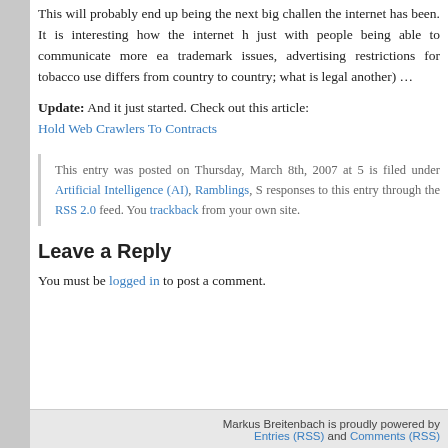This will probably end up being the next big challenge the internet has been. It is interesting how the internet has — just with people being able to communicate more easily — trademark issues, advertising restrictions for tobacco use differs from country to country; what is legal in one country is illegal in another) …
Update: And it just started. Check out this article: Hold Web Crawlers To Contracts
This entry was posted on Thursday, March 8th, 2007 at 5 is filed under Artificial Intelligence (AI), Ramblings, S responses to this entry through the RSS 2.0 feed. You trackback from your own site.
Leave a Reply
You must be logged in to post a comment.
Markus Breitenbach is proudly powered by Entries (RSS) and Comments (RSS)